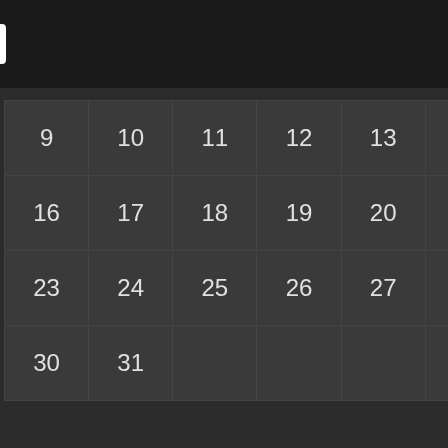Navigation Menu
| 9 | 10 | 11 | 12 | 13 | 14 | 15 |
| 16 | 17 | 18 | 19 | 20 | 21 | 22 |
| 23 | 24 | 25 | 26 | 27 | 28 | 29 |
| 30 | 31 |  |  |  |  |  |
« Jun   Aug »
Links
Antigua Sun
Barbados Nation
Cana News
Caribbean blogs
Caribbean Vacation Travel
Cariweb
Georgetown Guyana
Government Ads (GINA)